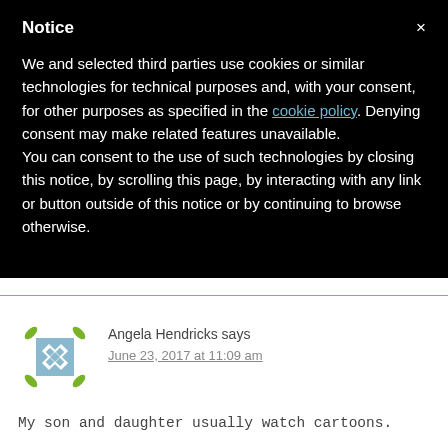Notice
We and selected third parties use cookies or similar technologies for technical purposes and, with your consent, for other purposes as specified in the cookie policy. Denying consent may make related features unavailable.
You can consent to the use of such technologies by closing this notice, by scrolling this page, by interacting with any link or button outside of this notice or by continuing to browse otherwise.
Angela Hendricks says
June 23, 2017 at 11:09 am
My son and daughter usually watch cartoons.